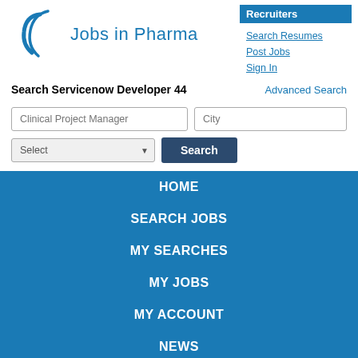[Figure (logo): Jobs in Pharma logo with curved swoosh graphic and blue text]
Recruiters
Search Resumes
Post Jobs
Sign In
Search Servicenow Developer 44
Advanced Search
Clinical Project Manager
City
Select
Search
HOME
SEARCH JOBS
MY SEARCHES
MY JOBS
MY ACCOUNT
NEWS
EVENTS & COURSES
ADVERTISE YOUR JOBS NOW